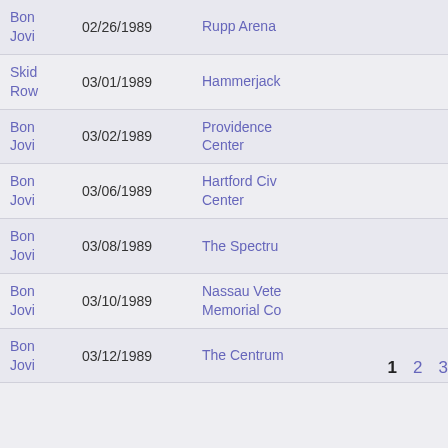| Artist | Date | Venue |
| --- | --- | --- |
| Bon Jovi | 02/26/1989 | Rupp Arena |
| Skid Row | 03/01/1989 | Hammerjack |
| Bon Jovi | 03/02/1989 | Providence Center |
| Bon Jovi | 03/06/1989 | Hartford Civic Center |
| Bon Jovi | 03/08/1989 | The Spectrum |
| Bon Jovi | 03/10/1989 | Nassau Veterans Memorial Coliseum |
| Bon Jovi | 03/12/1989 | The Centrum |
1 2 3